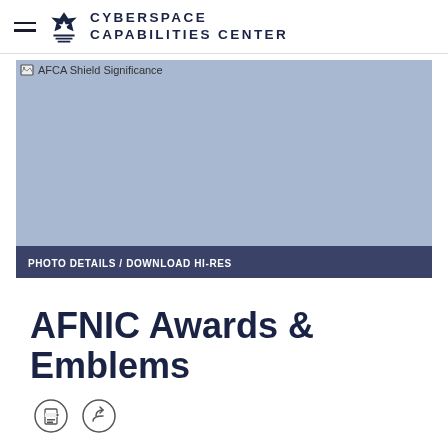CYBERSPACE CAPABILITIES CENTER
[Figure (screenshot): AFCA Shield Significance — placeholder image with blue-grey background and photo details/download hi-res bar at bottom]
AFNIC Awards & Emblems